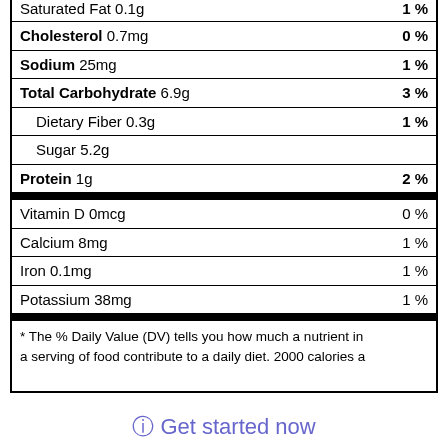| Nutrient | Amount | % DV |
| --- | --- | --- |
| Saturated Fat 0.1g |  | 1% |
| Cholesterol 0.7mg |  | 0% |
| Sodium 25mg |  | 1% |
| Total Carbohydrate 6.9g |  | 3% |
| Dietary Fiber 0.3g |  | 1% |
| Sugar 5.2g |  |  |
| Protein 1g |  | 2% |
| Vitamin D 0mcg |  | 0% |
| Calcium 8mg |  | 1% |
| Iron 0.1mg |  | 1% |
| Potassium 38mg |  | 1% |
* The % Daily Value (DV) tells you how much a nutrient in a serving of food contribute to a daily diet. 2000 calories a
ⓘ Get started now